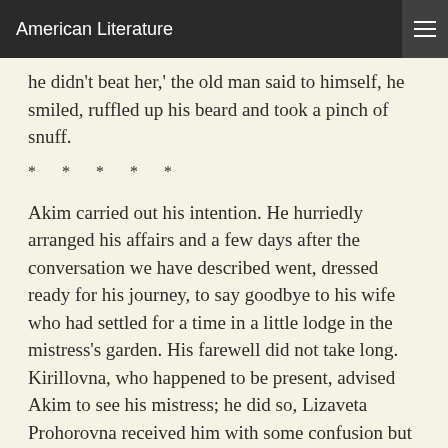American Literature
he didn't beat her,' the old man said to himself, he smiled, ruffled up his beard and took a pinch of snuff.
* * * * *
Akim carried out his intention. He hurriedly arranged his affairs and a few days after the conversation we have described went, dressed ready for his journey, to say goodbye to his wife who had settled for a time in a little lodge in the mistress's garden. His farewell did not take long. Kirillovna, who happened to be present, advised Akim to see his mistress; he did so, Lizaveta Prohorovna received him with some confusion but graciously let him kiss her hand and